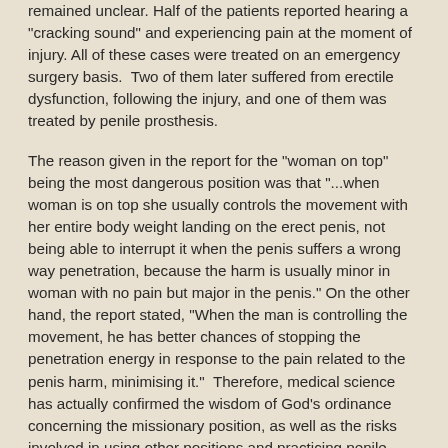remained unclear. Half of the patients reported hearing a "cracking sound" and experiencing pain at the moment of injury. All of these cases were treated on an emergency surgery basis.  Two of them later suffered from erectile dysfunction, following the injury, and one of them was treated by penile prosthesis.
The reason given in the report for the "woman on top" being the most dangerous position was that "...when woman is on top she usually controls the movement with her entire body weight landing on the erect penis, not being able to interrupt it when the penis suffers a wrong way penetration, because the harm is usually minor in woman with no pain but major in the penis." On the other hand, the report stated, "When the man is controlling the movement, he has better chances of stopping the penetration energy in response to the pain related to the penis harm, minimising it."  Therefore, medical science has actually confirmed the wisdom of God's ordinance concerning the missionary position, as well as the risks involved in using other positions and practicing penile manipulation.